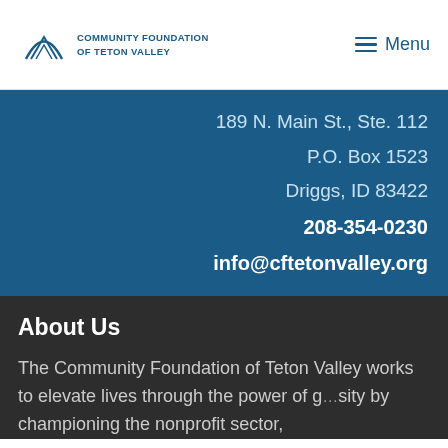[Figure (logo): Community Foundation of Teton Valley logo with mountain arc icon]
Menu
189 N. Main St., Ste. 112
P.O. Box 1523
Driggs, ID 83422
208-354-0230
info@cftetonvalley.org
About Us
The Community Foundation of Teton Valley works to elevate lives through the power of g...sity by championing the nonprofit sector,